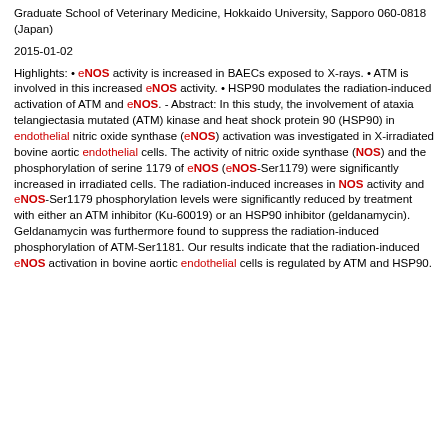Graduate School of Veterinary Medicine, Hokkaido University, Sapporo 060-0818 (Japan)
2015-01-02
Highlights: • eNOS activity is increased in BAECs exposed to X-rays. • ATM is involved in this increased eNOS activity. • HSP90 modulates the radiation-induced activation of ATM and eNOS. - Abstract: In this study, the involvement of ataxia telangiectasia mutated (ATM) kinase and heat shock protein 90 (HSP90) in endothelial nitric oxide synthase (eNOS) activation was investigated in X-irradiated bovine aortic endothelial cells. The activity of nitric oxide synthase (NOS) and the phosphorylation of serine 1179 of eNOS (eNOS-Ser1179) were significantly increased in irradiated cells. The radiation-induced increases in NOS activity and eNOS-Ser1179 phosphorylation levels were significantly reduced by treatment with either an ATM inhibitor (Ku-60019) or an HSP90 inhibitor (geldanamycin). Geldanamycin was furthermore found to suppress the radiation-induced phosphorylation of ATM-Ser1181. Our results indicate that the radiation-induced eNOS activation in bovine aortic endothelial cells is regulated by ATM and HSP90.